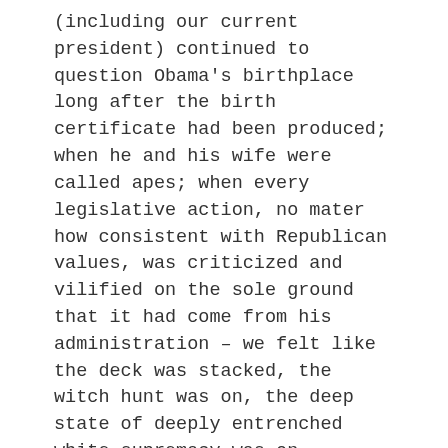(including our current president) continued to question Obama's birthplace long after the birth certificate had been produced; when he and his wife were called apes; when every legislative action, no mater how consistent with Republican values, was criticized and vilified on the sole ground that it had come from his administration – we felt like the deck was stacked, the witch hunt was on, the deep state of deeply entrenched white supremacy was on display.
Now those on the other side believe Trump is the victim of a Washington cartel aimed at bringing down the outsider.  They believe that the unfair